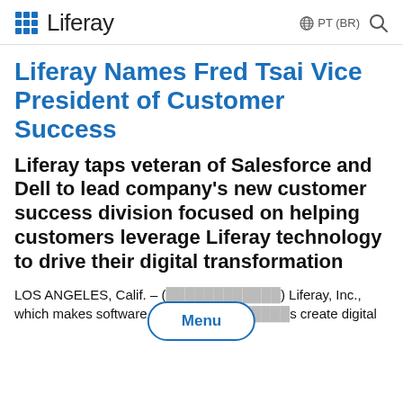Liferay  PT (BR)
Liferay Names Fred Tsai Vice President of Customer Success
Liferay taps veteran of Salesforce and Dell to lead company's new customer success division focused on helping customers leverage Liferay technology to drive their digital transformation
LOS ANGELES, Calif. – ( [date redacted] ) Liferay, Inc., which makes software that h[elps companies] create digital [experiences...]